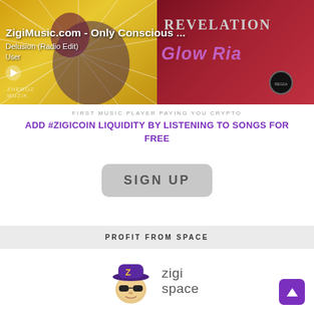[Figure (screenshot): Music player banner showing two album covers side by side. Left side: colorful starburst yellow background album with text overlay. Right side: red background with woman photo, 'Revelation' text and 'Glow Ria' text. Overlay shows 'ZigiMusic.com - Only Conscious...', 'Delusion (Radio Edit)', 'User', and a play button.]
FIRST MUSIC PLAYER PAYING YOU CRYPTO
ADD #ZIGICOIN LIQUIDITY BY LISTENING TO SONGS FOR FREE
[Figure (other): Sign Up button — large grey rounded rectangle with text 'SIGN UP']
PROFIT FROM SPACE
[Figure (logo): Zigi Space logo: cartoon character wearing a purple cap with sunglasses next to the text 'zigi space']